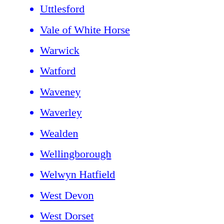Tunbridge Wells
Uttlesford
Vale of White Horse
Warwick
Watford
Waveney
Waverley
Wealden
Wellingborough
Welwyn Hatfield
West Devon
West Dorset
West Lancashire
West Lindsey
West Oxfordshire
West Somerset
Weymouth and Portland
Winchester
Woking
Worcester
Worthing
Wychavon
Wycombe
Wyre
Wyre Forest